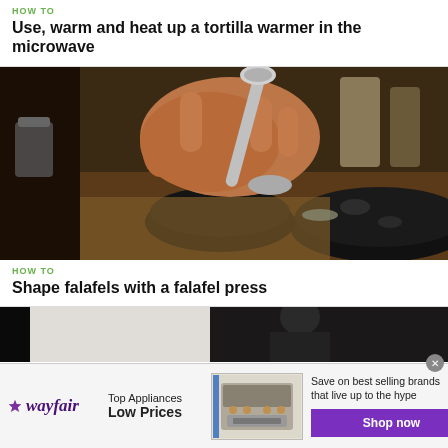HOW TO
Use, warm and heat up a tortilla warmer in the microwave
[Figure (photo): A hand holding a metal falafel press over a black pan on a stovetop in a kitchen]
HOW TO
Shape falafels with a falafel press
[Figure (photo): Partial view of a person in a kitchen setting]
[Figure (photo): Wayfair advertisement banner showing Top Appliances Low Prices with a stove image and Shop now button]